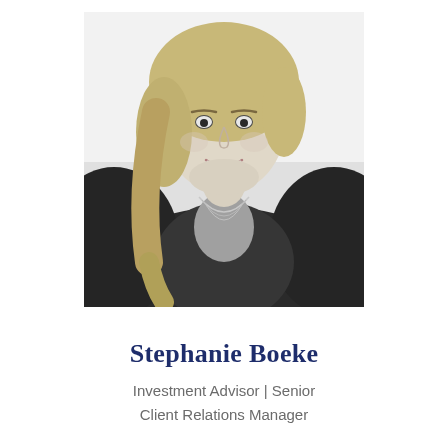[Figure (photo): Black and white professional headshot of Stephanie Boeke, a woman with blonde hair wearing a black blazer and layered necklace, smiling at the camera against a white background]
Stephanie Boeke
Investment Advisor | Senior Client Relations Manager